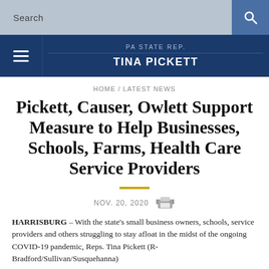Search
PA STATE REP. TINA PICKETT
HOME / LATEST NEWS
Pickett, Causer, Owlett Support Measure to Help Businesses, Schools, Farms, Health Care Service Providers
NOV. 20, 2020
HARRISBURG – With the state's small business owners, schools, service providers and others struggling to stay afloat in the midst of the ongoing COVID-19 pandemic, Reps. Tina Pickett (R- Bradford/Sullivan/Susquehanna)